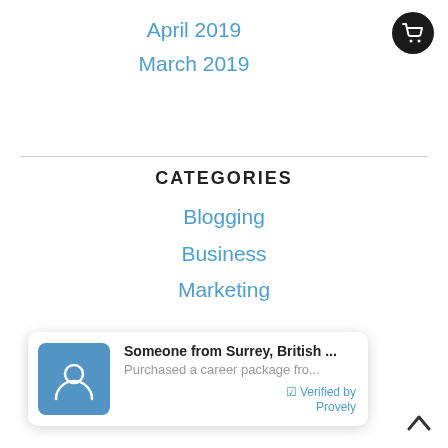April 2019
March 2019
CATEGORIES
Blogging
Business
Marketing
Someone from Surrey, British ... Purchased a career package fro... ✓ Verified by Provely